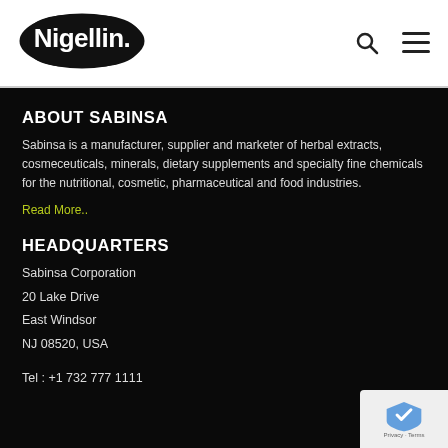[Figure (logo): Nigellin logo — white text on black organic blob shape]
ABOUT SABINSA
Sabinsa is a manufacturer, supplier and marketer of herbal extracts, cosmeceuticals, minerals, dietary supplements and specialty fine chemicals for the nutritional, cosmetic, pharmaceutical and food industries.
Read More..
HEADQUARTERS
Sabinsa Corporation
20 Lake Drive
East Windsor
NJ 08520, USA
Tel : +1 732 777 1111